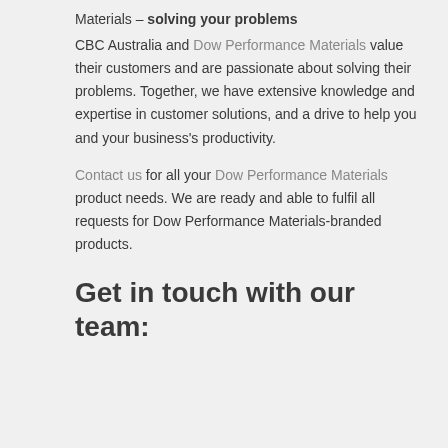Materials – solving your problems
CBC Australia and Dow Performance Materials value their customers and are passionate about solving their problems. Together, we have extensive knowledge and expertise in customer solutions, and a drive to help you and your business's productivity.
Contact us for all your Dow Performance Materials product needs. We are ready and able to fulfil all requests for Dow Performance Materials-branded products.
Get in touch with our team: